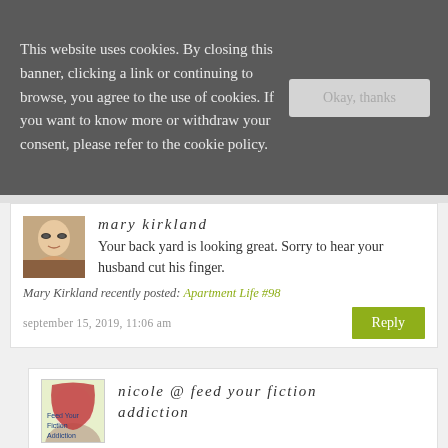This website uses cookies. By closing this banner, clicking a link or continuing to browse, you agree to the use of cookies. If you want to know more or withdraw your consent, please refer to the cookie policy.
Okay, thanks
mary kirkland
Your back yard is looking great. Sorry to hear your husband cut his finger.
Mary Kirkland recently posted: Apartment Life #98
september 15, 2019, 11:06 am
Reply
[Figure (photo): Avatar photo of mary kirkland showing a face with dramatic eye makeup]
nicole @ feed your fiction addiction
[Figure (photo): Avatar/logo image for nicole @ feed your fiction addiction]